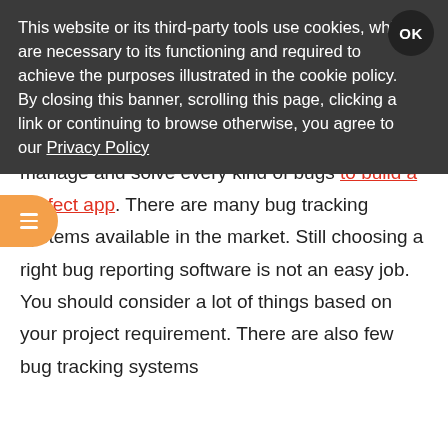EDUCBA
Cycle tracking and finding bugs is one of the most important step. Without this step a software is not complete. It is a big deal to track, manage and solve every kind of bugs to build a perfect app. There are many bug tracking systems available in the market. Still choosing a right bug reporting software is not an easy job. You should consider a lot of things based on your project requirement. There are also few bug tracking systems
This website or its third-party tools use cookies, which are necessary to its functioning and required to achieve the purposes illustrated in the cookie policy. By closing this banner, scrolling this page, clicking a link or continuing to browse otherwise, you agree to our Privacy Policy